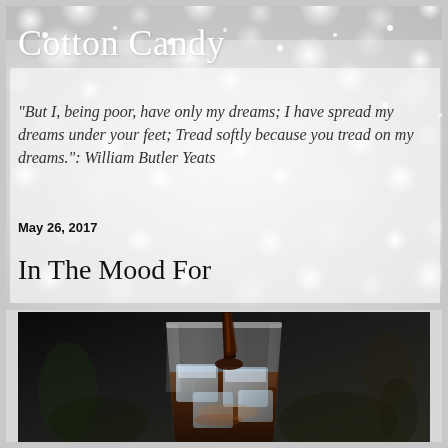Cotton Candy
"But I, being poor, have only my dreams; I have spread my dreams under your feet; Tread softly because you tread on my dreams.": William Butler Yeats
May 26, 2017
In The Mood For
[Figure (photo): Dark background photo of dark liquid (coffee or cola) being poured into a glass filled with ice cubes, creating a dramatic contrast.]